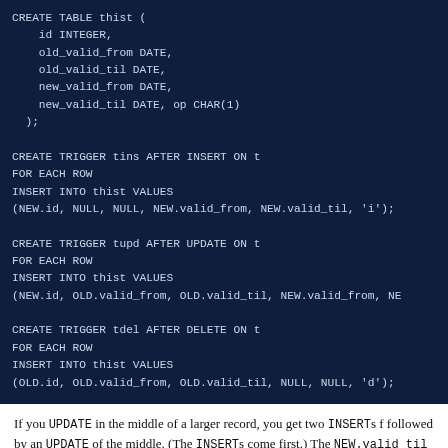[Figure (screenshot): Dark blue code block showing SQL CREATE TABLE and CREATE TRIGGER statements for temporal history tracking]
If you UPDATE in the middle of a larger record, you get two INSERTs followed by an UPDATE of the middle. (The INSERTs come first.) The NEW.valid_til mark the part that is being inserted/updated, as you'd e
If you DELETE in the middle of a larger record, you also get two INSERs of the part you touched. In the delete trigger the OLD.valid_{from,til old values, not the slice you're deleting. (This probably makes sense, b mechanical/literal. It means your DELETE trigger doesn't know what sl